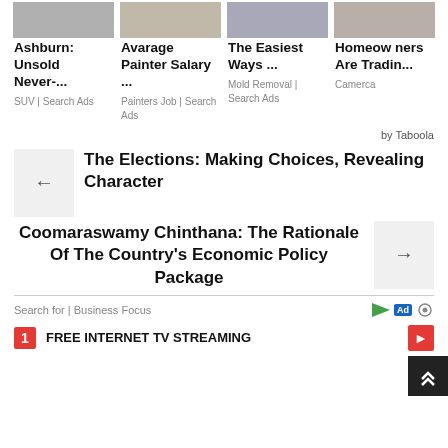[Figure (photo): Strip of four small ad images at the top]
Ashburn: Unsold Never-... | SUV | Search Ads
Avarage Painter Salary ... | Painters Job | Search Ads
The Easiest Ways ... | Mold Removal | Search Ads
Homeowners Are Tradin... | Camerca
by Taboola
The Elections: Making Choices, Revealing Character
Coomaraswamy Chinthana: The Rationale Of The Country's Economic Policy Package
Search for | Business Focus
FREE INTERNET TV STREAMING